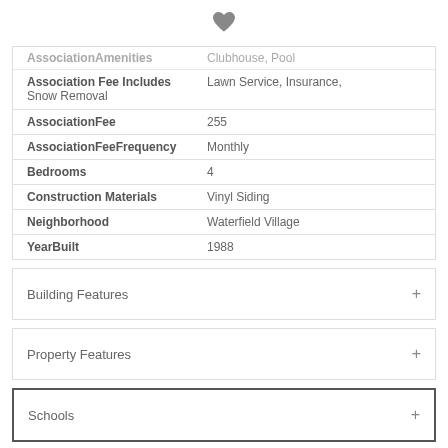[Figure (illustration): Heart icon / favorite button at top center of page]
| Field | Value |
| --- | --- |
| AssociationAmenities (truncated) | Clubhouse, Pool (truncated) |
| Association Fee Includes | Lawn Service, Insurance, Snow Removal |
| AssociationFee | 255 |
| AssociationFeeFrequency | Monthly |
| Bedrooms | 4 |
| Construction Materials | Vinyl Siding |
| Neighborhood | Waterfield Village |
| YearBuilt | 1988 |
Building Features
Property Features
Schools